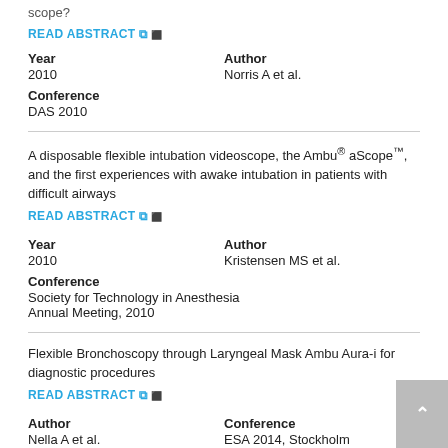scope?
READ ABSTRACT
Year
2010
Author
Norris A et al.
Conference
DAS 2010
A disposable flexible intubation videoscope, the Ambu® aScope™, and the first experiences with awake intubation in patients with difficult airways
READ ABSTRACT
Year
2010
Author
Kristensen MS et al.
Conference
Society for Technology in Anesthesia
Annual Meeting, 2010
Flexible Bronchoscopy through Laryngeal Mask Ambu Aura-i for diagnostic procedures
READ ABSTRACT
Author
Nella A et al.
Conference
ESA 2014, Stockholm